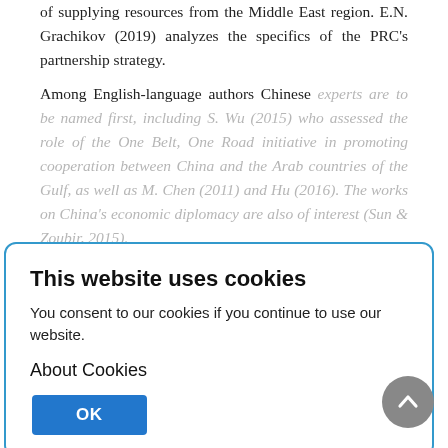of supplying resources from the Middle East region. E.N. Grachikov (2019) analyzes the specifics of the PRC's partnership strategy.
Among English-language authors Chinese experts are to be named first, including S. Wu (2015) who assessed the role of the One Belt, One Road initiative in promoting cooperation between China and the Arab countries of the Gulf, as well as M. Chen (2011) and Hu (2016). The works on China's economic diplomacy are also of interest (Sun & Zoubir, 2015).
J. Fulton, one of the most prominent representatives of Western historiography, states that both economic and domestic needs of the Gulf countries have specified their strong support of the Belt and Road
This website uses cookies
You consent to our cookies if you continue to use our website.
About Cookies
OK